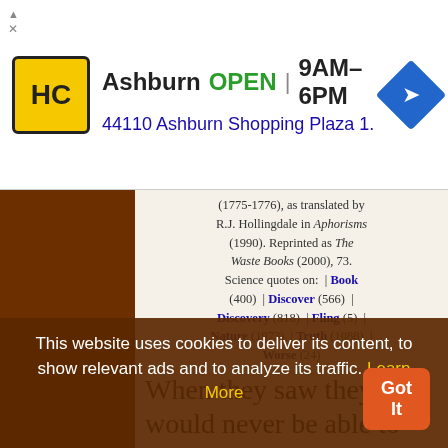[Figure (screenshot): Advertisement banner for hardware store: HC logo, 'Ashburn OPEN 9AM-6PM', '44110 Ashburn Shopping Plaza 1.' with navigation arrow icon]
(1775-1776), as translated by R.J. Hollingdale in Aphorisms (1990). Reprinted as The Waste Books (2000), 73. Science quotes on: | Book (400) | Discover (566) | Discovery (818) | Fling (5) | Nature (1973) | Truth (1088) | Worse (24)
When they saw they would never be able to set a Catholic head on his shoulders they at least struck off the Protestant one.
— Georg Christoph Lichtenberg, in Notebook D (1773-1775), as translated by R.J. Hollingdale in Aphorisms (1990). Reprinted as The
This website uses cookies to deliver its content, to show relevant ads and to analyze its traffic. Learn More
Got It